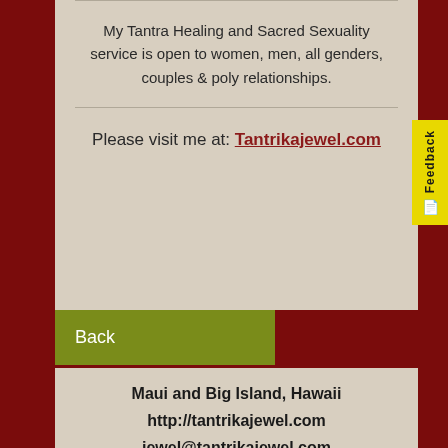My Tantra Healing and Sacred Sexuality service is open to women, men, all genders, couples & poly relationships.
Please visit me at: Tantrikajewel.com
Back
Maui and Big Island, Hawaii
http://tantrikajewel.com
jewel@tantrikajewel.com
808 283 3880
Tantra